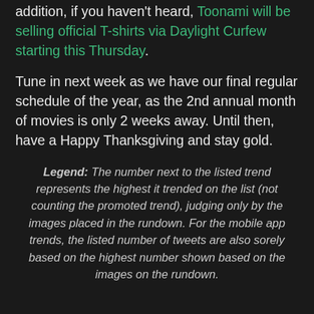addition, if you haven't heard, Toonami will be selling official T-shirts via Daylight Curfew starting this Thursday.
Tune in next week as we have our final regular schedule of the year, as the 2nd annual month of movies is only 2 weeks away. Until then, have a Happy Thanksgiving and stay gold.
Legend: The number next to the listed trend represents the highest it trended on the list (not counting the promoted trend), judging only by the images placed in the rundown. For the mobile app trends, the listed number of tweets are also sorely based on the highest number shown based on the images on the rundown.